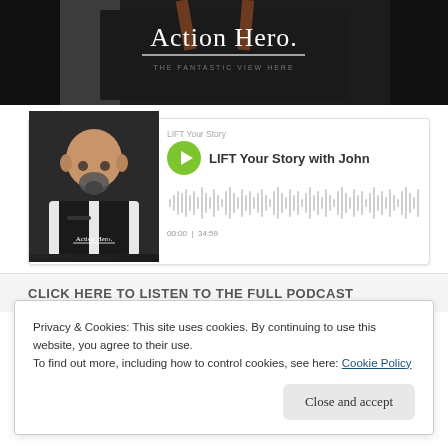[Figure (photo): Dark jacket with 'Action Hero.' text, person pulling jacket open to reveal the text]
[Figure (screenshot): Podcast player widget: thumbnail of bald man in Action Hero jacket, green play button, title 'LIFT Your Story with John', audio waveform, time 00:00 / 34:59]
CLICK HERE TO LISTEN TO THE FULL PODCAST
Privacy & Cookies: This site uses cookies. By continuing to use this website, you agree to their use.
To find out more, including how to control cookies, see here: Cookie Policy
Close and accept